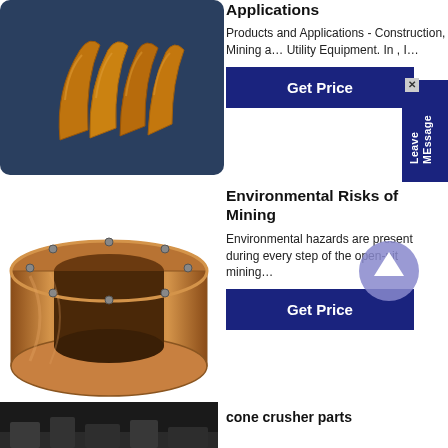[Figure (photo): Copper/gold colored metal casting pieces with curved wing-like shapes on dark blue background]
Applications
Products and Applications - Construction, Mining a… Utility Equipment. In , I…
[Figure (other): Get Price button (dark blue)]
[Figure (other): Leave MEssage tab on right edge]
[Figure (photo): Bronze/copper cylindrical flanged bushing on white background]
Environmental Risks of Mining
Environmental hazards are present during every step of the open-pit mining…
[Figure (other): Arrow up circle icon]
[Figure (other): Get Price button (dark blue)]
[Figure (photo): Partial dark image of cone crusher parts, bottom of page]
cone crusher parts